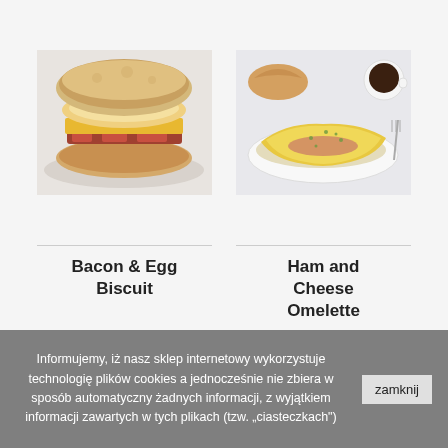[Figure (photo): Photo of a Bacon & Egg Biscuit sandwich with egg, cheese, and bacon on a biscuit]
[Figure (photo): Photo of a Ham and Cheese Omelette on a white plate with croissant and coffee cup in background]
Bacon & Egg Biscuit
Ham and Cheese Omelette
Informujemy, iż nasz sklep internetowy wykorzystuje technologię plików cookies a jednocześnie nie zbiera w sposób automatyczny żadnych informacji, z wyjątkiem informacji zawartych w tych plikach (tzw. „ciasteczkach").